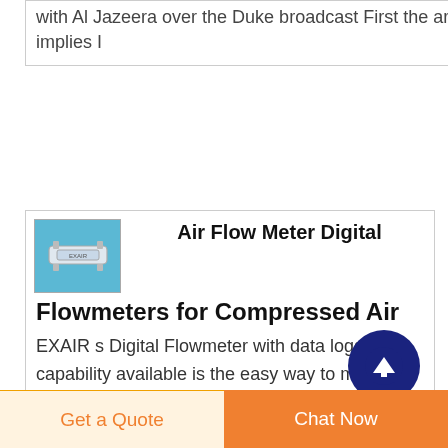with Al Jazeera over the Duke broadcast First the article implies I
[Figure (photo): Small thumbnail image of an air flow meter device on a light blue background]
Air Flow Meter Digital Flowmeters for Compressed Air
EXAIR s Digital Flowmeter with data logging capability available is the easy way to monitor compressed air consumption and waste Available for measuring air flow in SCFM or m3/hr on 1/2 thru 8 Schedule 40 Iron Pipe
Get a Quote
Chat Now